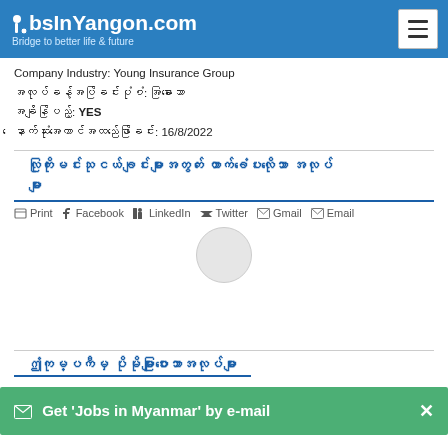JobsInYangon.com — Bridge to better life & future
Company Industry: Young Insurance Group
အလုပ်ခန့်အပ်ခြင်းပုံစံ: အခြားသော
အချိန်ပြည့်: YES
နောက်ဆုံးအကောင်အထည်ဖော်ခြင်း: 16/8/2022
လုကြိုမင်းသုငယ်ချင်းများအတွက် ထောက်ခံပေးလိုသော အလုပ်များ
Print  Facebook  LinkedIn  Twitter  Gmail  Email
[Figure (other): Loading spinner / circular progress indicator]
ဤကုမ္ပကီမှ ပိုမိုများပြားသောအလုပ်များ
Get 'Jobs in Myanmar' by e-mail